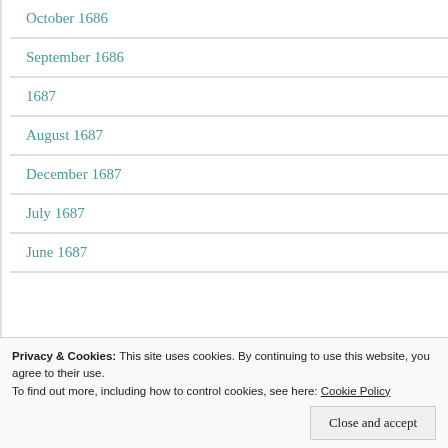October 1686
September 1686
1687
August 1687
December 1687
July 1687
June 1687
Privacy & Cookies: This site uses cookies. By continuing to use this website, you agree to their use. To find out more, including how to control cookies, see here: Cookie Policy
Close and accept